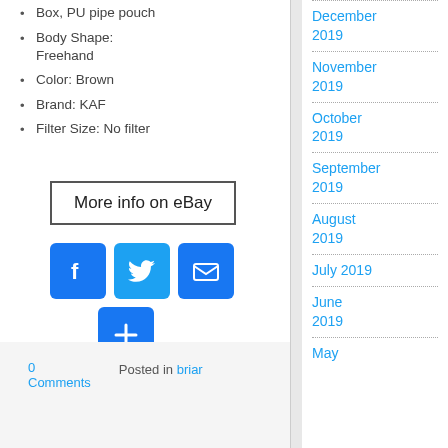Box, PU pipe pouch
Body Shape: Freehand
Color: Brown
Brand: KAF
Filter Size: No filter
[Figure (other): More info on eBay button - rectangular bordered button with text]
[Figure (other): Social share icons: Facebook (blue), Twitter (blue), Email (blue), Plus/More (blue)]
0 Comments   Posted in briar
December 2019
November 2019
October 2019
September 2019
August 2019
July 2019
June 2019
May